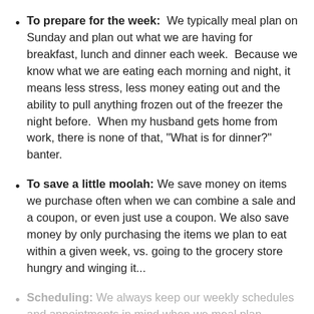To prepare for the week: We typically meal plan on Sunday and plan out what we are having for breakfast, lunch and dinner each week. Because we know what we are eating each morning and night, it means less stress, less money eating out and the ability to pull anything frozen out of the freezer the night before. When my husband gets home from work, there is none of that, "What is for dinner?" banter.
To save a little moolah: We save money on items we purchase often when we can combine a sale and a coupon, or even just use a coupon. We also save money by only purchasing the items we plan to eat within a given week, vs. going to the grocery store hungry and winging it...
Scheduling: We always keep our weekly schedules and appointments in mind when we meal plan. Nights we have baseball practice or